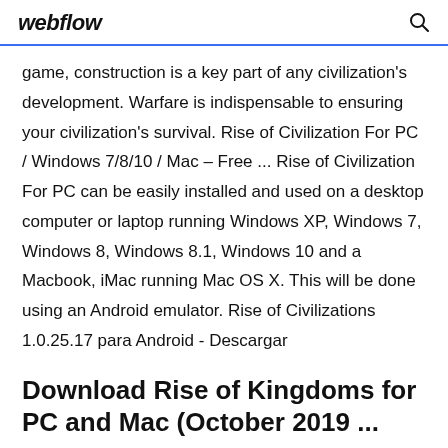webflow
game, construction is a key part of any civilization’s development. Warfare is indispensable to ensuring your civilization’s survival. Rise of Civilization For PC / Windows 7/8/10 / Mac – Free ... Rise of Civilization For PC can be easily installed and used on a desktop computer or laptop running Windows XP, Windows 7, Windows 8, Windows 8.1, Windows 10 and a Macbook, iMac running Mac OS X. This will be done using an Android emulator. Rise of Civilizations 1.0.25.17 para Android - Descargar
Download Rise of Kingdoms for PC and Mac (October 2019 ...